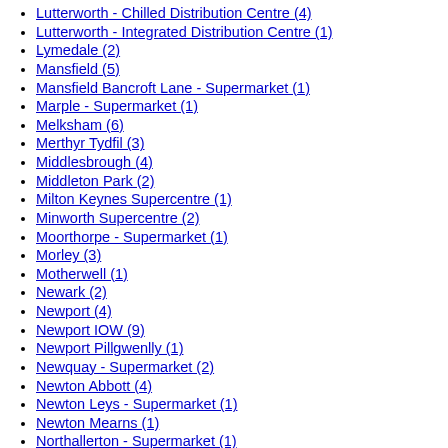Lutterworth - Chilled Distribution Centre (4)
Lutterworth - Integrated Distribution Centre (1)
Lymedale (2)
Mansfield (5)
Mansfield Bancroft Lane - Supermarket (1)
Marple - Supermarket (1)
Melksham (6)
Merthyr Tydfil (3)
Middlesbrough (4)
Middleton Park (2)
Milton Keynes Supercentre (1)
Minworth Supercentre (2)
Moorthorpe - Supermarket (1)
Morley (3)
Motherwell (1)
Newark (2)
Newport (4)
Newport IOW (9)
Newport Pillgwenlly (1)
Newquay - Supermarket (2)
Newton Abbott (4)
Newton Leys - Supermarket (1)
Newton Mearns (1)
Northallerton - Supermarket (1)
Norwich (2)